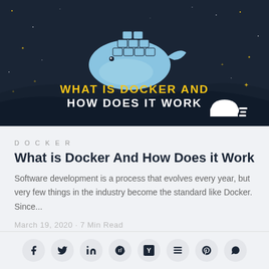[Figure (illustration): Docker whale logo with container blocks on dark navy starry background, with text 'WHAT IS DOCKER AND HOW DOES IT WORK' in yellow and white bold uppercase letters, and a cloud icon at bottom right]
DOCKER
What is Docker And How Does it Work
Software development is a process that evolves every year, but very few things in the industry become the standard like Docker. Since...
March 19, 2020 · 7 Min Read
[Figure (infographic): Social share buttons row: Facebook, Twitter, LinkedIn, Reddit, Hacker News (Y), Buffer, Pinterest, WhatsApp icons in circular grey buttons]